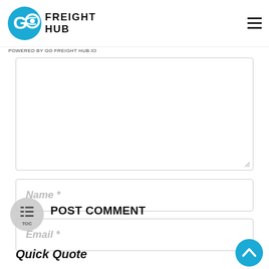GO FREIGHT HUB
POWERED BY GO FREIGHT HUB.IO
[Figure (screenshot): Large textarea input field for comment entry]
Name *
Email *
[Figure (other): TOC circular button with list icon]
POST COMMENT
Quick Quote
[Figure (other): Back to top circular teal button with chevron up icon]